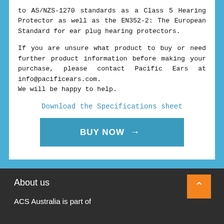to AS/NZS-1270 standards as a Class 5 Hearing Protector as well as the EN352-2: The European Standard for ear plug hearing protectors.
If you are unsure what product to buy or need further product information before making your purchase, please contact Pacific Ears at info@pacificears.com.
We will be happy to help.
Download the Specifications sheet
BUY NOW →
About us
ACS Australia is part of